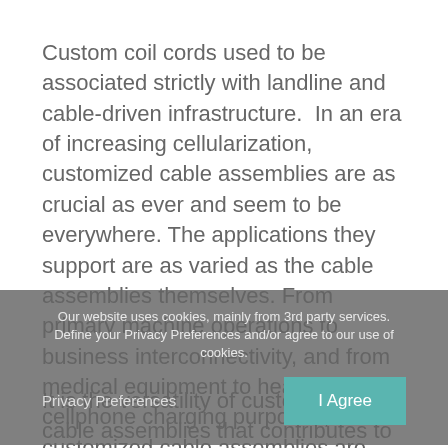Custom coil cords used to be associated strictly with landline and cable-driven infrastructure. In an era of increasing cellularization, customized cable assemblies are as crucial as ever and seem to be everywhere. The applications they support are as varied as the cable assemblies themselves. From primary machine operations to business interconnectivity, and from medical equipment to headsets and cellphone charging purposes, customized cable assemblies are always in demand.
Our website uses cookies, mainly from 3rd party services. Define your Privacy Preferences and/or agree to our use of cookies.
Privacy Preferences
I Agree
It is the versatility of customized cable assemblies that contributes to their near-